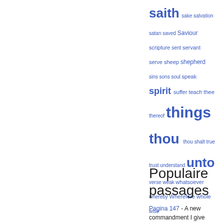[Figure (other): Tag cloud with words: saith, sake, salvation, satan, saved, Saviour, scripture, sent, servant, serve, sheep, shepherd, sins, sons, soul, speak, spirit, suffer, teach, thee, thereof, things, thou, thou shalt, true, trust, understand, unto, verse, weak, whatsoever, whereby, Wherefore, whole, wise — displayed in varying font sizes in blue]
Populaire passages
Pagina 147 - A new commandment I give